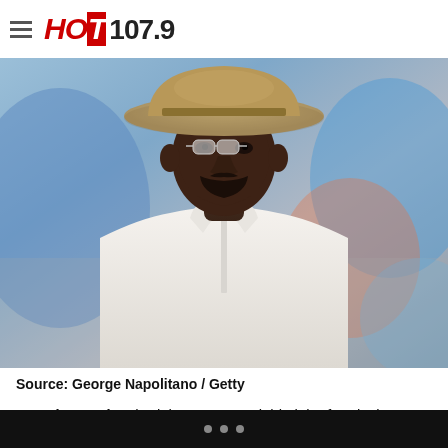HOT 107.9
[Figure (photo): Close-up photo of a Black man wearing a wide-brim straw hat and white button-up shirt, looking upward, with a blurred colorful background]
Source: George Napolitano / Getty
American Crime had the not so enviable job of replacing How to Get Away With Murder at that 10 p.m. Thursday slot. John Ridley's drama wasn't as talked about as the show it replaced,